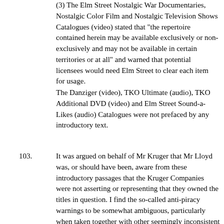(3) The Elm Street Nostalgic War Documentaries, Nostalgic Color Film and Nostalgic Television Shows Catalogues (video) stated that "the repertoire contained herein may be available exclusively or non-exclusively and may not be available in certain territories or at all" and warned that potential licensees would need Elm Street to clear each item for usage.
The Danziger (video), TKO Ultimate (audio), TKO Additional DVD (video) and Elm Street Sound-a-Likes (audio) Catalogues were not prefaced by any introductory text.
103. It was argued on behalf of Mr Kruger that Mr Lloyd was, or should have been, aware from these introductory passages that the Kruger Companies were not asserting or representing that they owned the titles in question. I find the so-called anti-piracy warnings to be somewhat ambiguous, particularly when taken together with other seemingly inconsistent statements in the introductory sections. I do not, however, consider that any clear representation as to ownership emerges from those anti-piracy warnings, which were only given in three of the Catalogues. In any event, although Mr Lloyd was aware that some of the Catalogues contained these introductory sections, which he described as standard disclaimers, it does not appear that he either read or